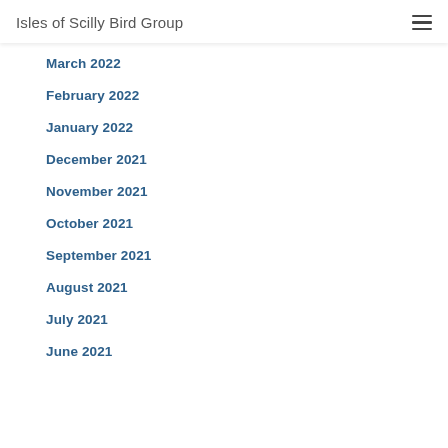Isles of Scilly Bird Group
March 2022
February 2022
January 2022
December 2021
November 2021
October 2021
September 2021
August 2021
July 2021
June 2021